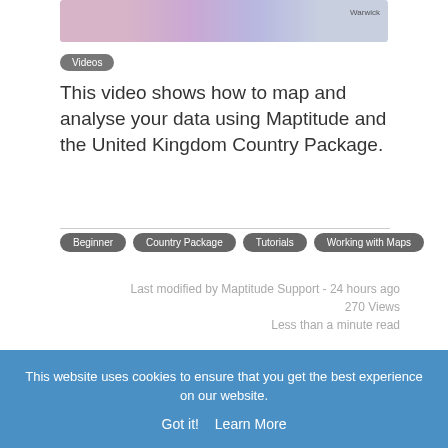[Figure (screenshot): Partial map screenshot showing UK map with 'Warwick' label visible]
Videos
This video shows how to map and analyse your data using Maptitude and the United Kingdom Country Package.
Beginner
Country Package
Tutorials
Working with Maps
Last modified by Maptitude Support - 24 hours ago
270 Views
Less than a minute read
This website uses cookies to ensure that you get the best experience on our website.
Got it!  Learn More